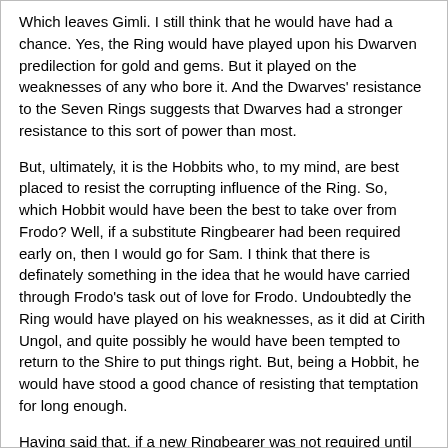Which leaves Gimli. I still think that he would have had a chance. Yes, the Ring would have played upon his Dwarven predilection for gold and gems. But it played on the weaknesses of any who bore it. And the Dwarves' resistance to the Seven Rings suggests that Dwarves had a stronger resistance to this sort of power than most.
But, ultimately, it is the Hobbits who, to my mind, are best placed to resist the corrupting influence of the Ring. So, which Hobbit would have been the best to take over from Frodo? Well, if a substitute Ringbearer had been required early on, then I would go for Sam. I think that there is definately something in the idea that he would have carried through Frodo's task out of love for Frodo. Undoubtedly the Ring would have played on his weaknesses, as it did at Cirith Ungol, and quite possibly he would have been tempted to return to the Shire to put things right. But, being a Hobbit, he would have stood a good chance of resisting that temptation for long enough.
Having said that, if a new Ringbearer was not required until after Merry and Pippin had been through their character-forming experiences, then I think that either of them, at that stage, would have been as good a choice as Sam, possibly better given that they were not "followers" like Sam. Their experiences had toughened them up mentally (and physically) and they had developed a significantly increased appreciation of just what was at stake. And out of them, I would go for Merry, as having the greater common sense out of the two.
So my vote for substitute Ringbearer goes to a post-Isengard Meriadoc Brandybuck.